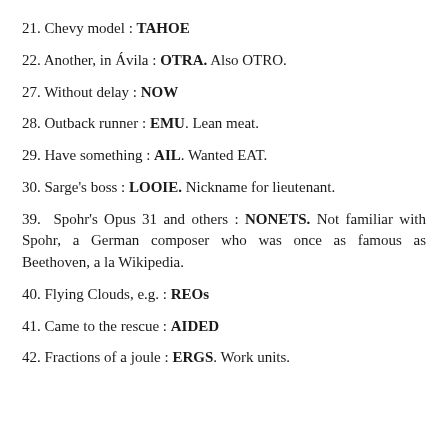21. Chevy model : TAHOE
22. Another, in Ávila : OTRA. Also OTRO.
27. Without delay : NOW
28. Outback runner : EMU. Lean meat.
29. Have something : AIL. Wanted EAT.
30. Sarge's boss : LOOIE. Nickname for lieutenant.
39. Spohr's Opus 31 and others : NONETS. Not familiar with Spohr, a German composer who was once as famous as Beethoven, a la Wikipedia.
40. Flying Clouds, e.g. : REOs
41. Came to the rescue : AIDED
42. Fractions of a joule : ERGS. Work units.